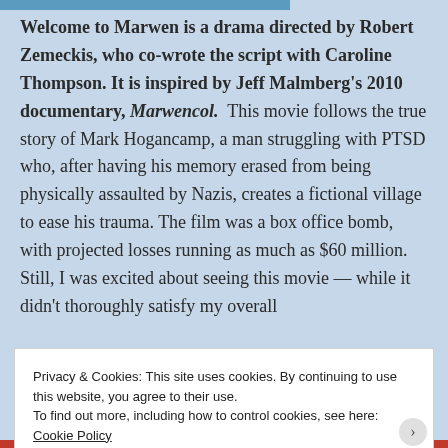Welcome to Marwen is a drama directed by Robert Zemeckis, who co-wrote the script with Caroline Thompson. It is inspired by Jeff Malmberg's 2010 documentary, Marwencol. This movie follows the true story of Mark Hogancamp, a man struggling with PTSD who, after having his memory erased from being physically assaulted by Nazis, creates a fictional village to ease his trauma. The film was a box office bomb, with projected losses running as much as $60 million. Still, I was excited about seeing this movie — while it didn't thoroughly satisfy my overall
Privacy & Cookies: This site uses cookies. By continuing to use this website, you agree to their use.
To find out more, including how to control cookies, see here: Cookie Policy
Close and accept